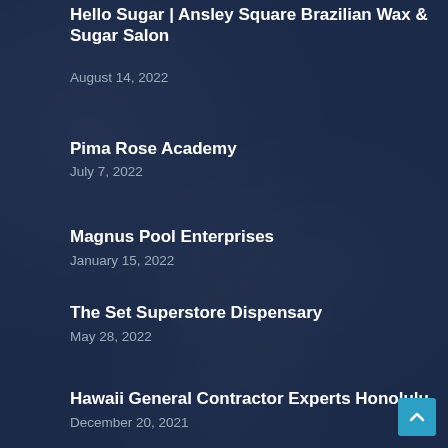Hello Sugar | Ansley Square Brazilian Wax & Sugar Salon
August 14, 2022
Pima Rose Academy
July 7, 2022
Magnus Pool Enterprises
January 15, 2022
The Set Superstore Dispensary
May 28, 2022
Hawaii General Contractor Experts Honolulu
December 20, 2021